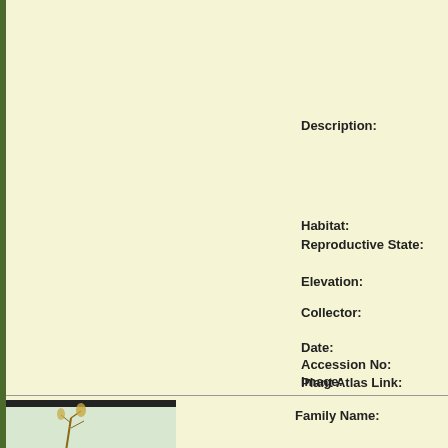Description:
Habitat:
Reproductive State:
Elevation:
Collector:
Date:
Accession No:
Image:
Plant Atlas Link:
[Figure (photo): Specimen photograph of a plant]
Family Name: